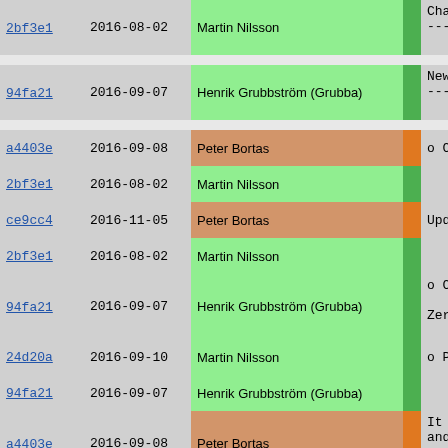| Hash | Date | Author |  | Message |
| --- | --- | --- | --- | --- |
| 2bf3e1 | 2016-08-02 | Martin Nilsson |  | Changes sinc
----------- |
| 94fa21 | 2016-09-07 | Henrik Grubbström (Grubba) |  | New features
----------- |
| a4403e | 2016-09-08 | Peter Bortas |  | o Calendar |
| 2bf3e1 | 2016-08-02 | Martin Nilsson |  |  |
| ce9cc4 | 2016-11-05 | Peter Bortas |  | Updated Ca |
| 2bf3e1 | 2016-08-02 | Martin Nilsson |  |  |
| 94fa21 | 2016-09-07 | Henrik Grubbström (Grubba) |  | o Crypto.EC0
Zero-pad s |
| 24d20a | 2016-09-10 | Martin Nilsson |  | o Protocols |
| 94fa21 | 2016-09-07 | Henrik Grubbström (Grubba) |  |  |
| a4403e | 2016-09-08 | Peter Bortas |  | It is now
and not ju
support fo |
| 94fa21 | 2016-09-07 | Henrik Grubbström (Grubba) |  |  |
| 55fdfa | 2016-11-01 | Henrik Grubbström (Grubba) |  | o CompilerFr |